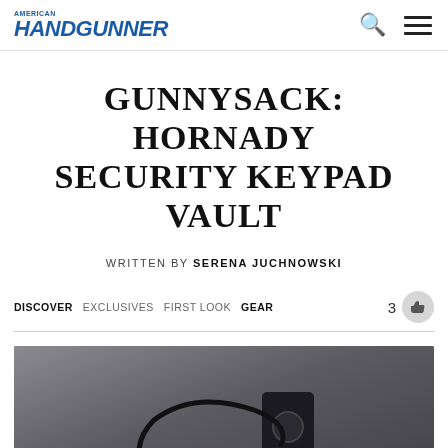AMERICAN HANDGUNNER
GUNNYSACK: HORNADY SECURITY KEYPAD VAULT
WRITTEN BY SERENA JUCHNOWSKI
DISCOVER  EXCLUSIVES  FIRST LOOK  GEAR   3
[Figure (photo): Photo of a Hornady Security Keypad Vault lying on a concrete surface with a security cable attached to it]